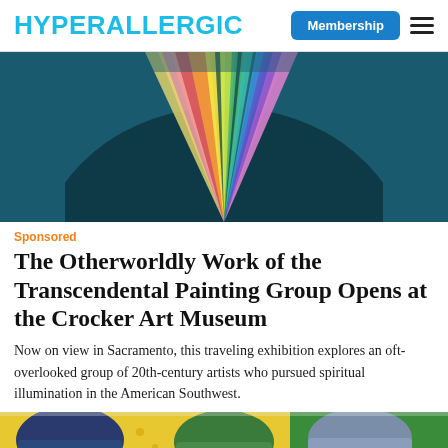HYPERALLERGIC | Membership
[Figure (illustration): Colorful abstract painting with rainbow fan-like rays radiating upward on a dark teal/navy background — artwork from the Transcendental Painting Group exhibition.]
Sponsored
The Otherworldly Work of the Transcendental Painting Group Opens at the Crocker Art Museum
Now on view in Sacramento, this traveling exhibition explores an oft-overlooked group of 20th-century artists who pursued spiritual illumination in the American Southwest.
[Figure (photo): Painting depicting several older women wearing headscarves against a yellow and green background with decorative patterns.]